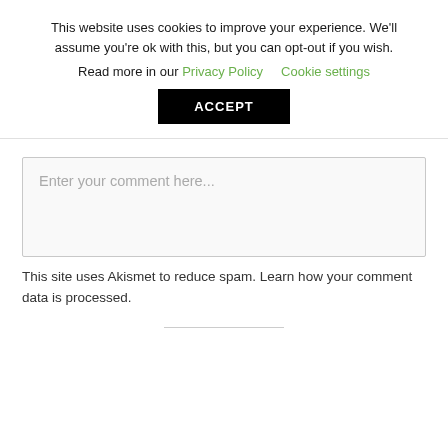This website uses cookies to improve your experience. We'll assume you're ok with this, but you can opt-out if you wish. Read more in our Privacy Policy   Cookie settings
ACCEPT
Enter your comment here...
This site uses Akismet to reduce spam. Learn how your comment data is processed.